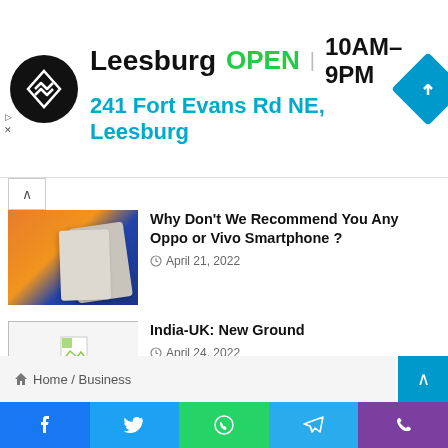[Figure (infographic): Advertisement banner for a store location: Leesburg, OPEN, 10AM-9PM, 241 Fort Evans Rd NE, Leesburg, with circular logo and navigation diamond icon]
Why Don't We Recommend You Any Oppo or Vivo Smartphone ? — April 21, 2022
India-UK: New Ground — April 24, 2022
Home / Business
[Figure (infographic): Social share bar with Facebook, Twitter, WhatsApp, Telegram, and Phone buttons]